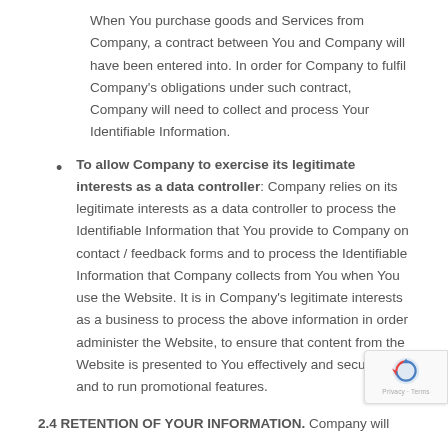When You purchase goods and Services from Company, a contract between You and Company will have been entered into. In order for Company to fulfil Company's obligations under such contract, Company will need to collect and process Your Identifiable Information.
To allow Company to exercise its legitimate interests as a data controller: Company relies on its legitimate interests as a data controller to process the Identifiable Information that You provide to Company on contact / feedback forms and to process the Identifiable Information that Company collects from You when You use the Website. It is in Company's legitimate interests as a business to process the above information in order administer the Website, to ensure that content from the Website is presented to You effectively and securely, and to run promotional features.
2.4 RETENTION OF YOUR INFORMATION. Company will